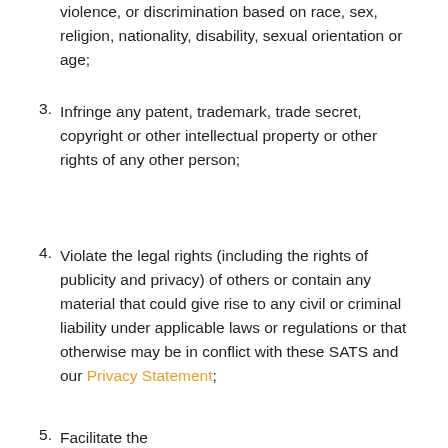violence, or discrimination based on race, sex, religion, nationality, disability, sexual orientation or age;
3. Infringe any patent, trademark, trade secret, copyright or other intellectual property or other rights of any other person;
4. Violate the legal rights (including the rights of publicity and privacy) of others or contain any material that could give rise to any civil or criminal liability under applicable laws or regulations or that otherwise may be in conflict with these SATS and our Privacy Statement;
5. Facilitate the...